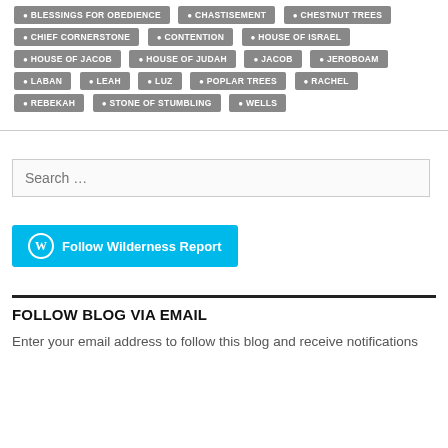BLESSINGS FOR OBEDIENCE
CHASTISEMENT
CHESTNUT TREES
CHIEF CORNERSTONE
CONTENTION
HOUSE OF ISRAEL
HOUSE OF JACOB
HOUSE OF JUDAH
JACOB
JEROBOAM
LABAN
LEAH
LUZ
POPLAR TREES
RACHEL
REBEKAH
STONE OF STUMBLING
WELLS
Search ...
Follow Wilderness Report
FOLLOW BLOG VIA EMAIL
Enter your email address to follow this blog and receive notifications